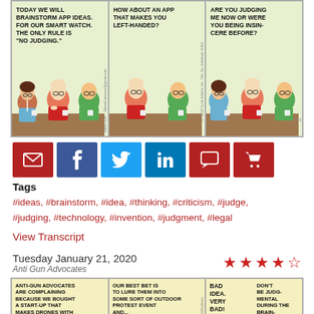[Figure (illustration): Dilbert comic strip with 3 panels. Panel 1: Characters at table with text 'TODAY WE WILL BRAINSTORM APP IDEAS FOR OUR SMART WATCH. THE ONLY RULE IS "NO JUDGING."'. Panel 2: Character says 'HOW ABOUT AN APP THAT MAKES YOU LEFT-HANDED?'. Panel 3: Character replies 'ARE YOU JUDGING ME NOW OR WERE YOU BEING INSIN-CERE BEFORE?']
[Figure (infographic): Row of social sharing buttons: email (dark red), Facebook (blue), Twitter (light blue), LinkedIn (blue), comment (dark red), shopping cart (dark red)]
Tags
#ideas, #brainstorm, #idea, #thinking, #criticism, #judge, #judging, #technology, #invention, #judgment, #legal
View Transcript
Tuesday January 21, 2020
Anti Gun Advocates
[Figure (illustration): Star rating: 4 out of 5 stars (filled red stars with one outline star)]
[Figure (illustration): Dilbert comic strip bottom portion with 3 panels on yellow background. Panel 1: 'ANTI-GUN ADVOCATES ARE COMPLAINING BECAUSE WE BOUGHT A START-UP THAT MAKES DRONES WITH MACHINE GUNS.' Panel 2: 'OUR BEST BET IS TO LURE THEM INTO SOME SORT OF OUTDOOR PROTEST EVENT AND...' Panel 3: 'BAD IDEA. VERY BAD! DON'T BE JUDG-MENTAL DURING THE BRAIN-STORMING.']